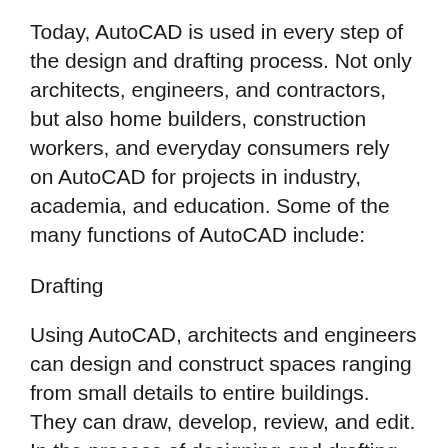Today, AutoCAD is used in every step of the design and drafting process. Not only architects, engineers, and contractors, but also home builders, construction workers, and everyday consumers rely on AutoCAD for projects in industry, academia, and education. Some of the many functions of AutoCAD include:
Drafting
Using AutoCAD, architects and engineers can design and construct spaces ranging from small details to entire buildings. They can draw, develop, review, and edit. In the process of designing and drafting, AutoCAD's features offer a suite of tools that speed up the work while maintaining control of the